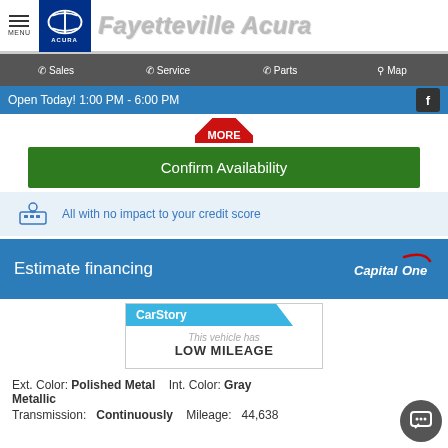MENU — Fayetteville Acura
Sales  Service  Parts  Map
Open Today! 1:00 PM - 6:00 PM
[Figure (infographic): Partial red stop sign shape visible at top]
Confirm Availability
All with no impact to your credit score
Estimate financing
[Figure (logo): Capital One logo]
[Figure (logo): CarStory card: This vehicle has LOW MILEAGE]
Ext. Color: Polished Metal Metallic   Int. Color: Gray
Transmission:    Continuously    Mileage: 44,638